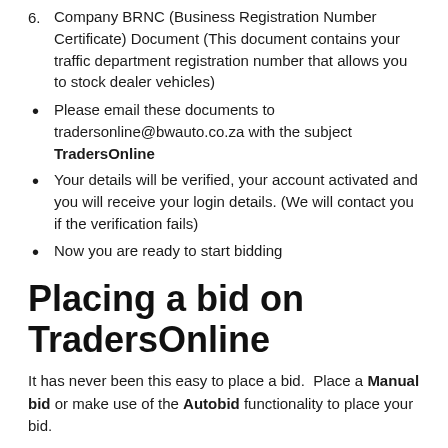6. Company BRNC (Business Registration Number Certificate) Document (This document contains your traffic department registration number that allows you to stock dealer vehicles)
Please email these documents to tradersonline@bwauto.co.za with the subject TradersOnline
Your details will be verified, your account activated and you will receive your login details. (We will contact you if the verification fails)
Now you are ready to start bidding
Placing a bid on TradersOnline
It has never been this easy to place a bid.  Place a Manual bid or make use of the Autobid functionality to place your bid.
The highest bid secures the vehicle!
Manual Bid: